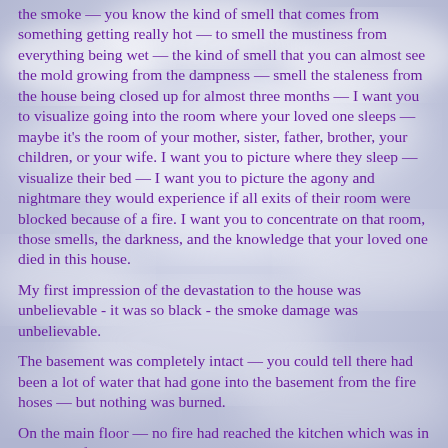the smoke — you know the kind of smell that comes from something getting really hot — to smell the mustiness from everything being wet — the kind of smell that you can almost see the mold growing from the dampness — smell the staleness from the house being closed up for almost three months — I want you to visualize going into the room where your loved one sleeps — maybe it's the room of your mother, sister, father, brother, your children, or your wife. I want you to picture where they sleep — visualize their bed — I want you to picture the agony and nightmare they would experience if all exits of their room were blocked because of a fire. I want you to concentrate on that room, those smells, the darkness, and the knowledge that your loved one died in this house.
My first impression of the devastation to the house was unbelievable - it was so black - the smoke damage was unbelievable.
The basement was completely intact — you could tell there had been a lot of water that had gone into the basement from the fire hoses — but nothing was burned.
On the main floor — no fire had reached the kitchen which was in the back of the house; however, the heat had gotten so hot that the microwave door had melted; in the dining room, the carpet was not burned, the fire had been so hot that the heat that the...